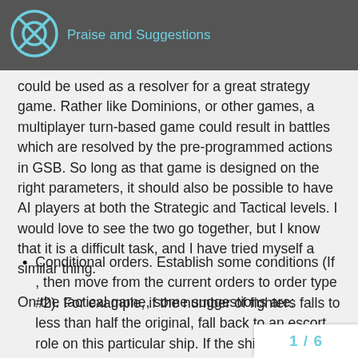Praise and Suggestions
could be used as a resolver for a great strategy game. Rather like Dominions, or other games, a multiplayer turn-based game could result in battles which are resolved by the pre-programmed actions in GSB. So long as that game is designed on the right parameters, it should also be possible to have AI players at both the Strategic and Tactical levels. I would love to see the two go together, but I know that it is a difficult task, and I have tried myself a similar thing.
On the tactical game, some suggestions are:
Conditional orders. Establish some conditions (If , then move from the current orders to order type #2). For example, if the number of fighters falls to less than half the original, fall back to an escort role on this particular ship. If the shields on a ship go down, move to a different attack order. The idea orders can be programmed now, th
1 / 6